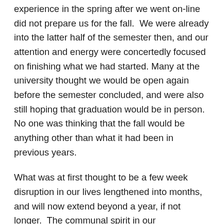experience in the spring after we went on-line did not prepare us for the fall.  We were already into the latter half of the semester then, and our attention and energy were concertedly focused on finishing what we had started. Many at the university thought we would be open again before the semester concluded, and were also still hoping that graduation would be in person.  No one was thinking that the fall would be anything other than what it had been in previous years.
What was at first thought to be a few week disruption in our lives lengthened into months, and will now extend beyond a year, if not longer.  The communal spirit in our